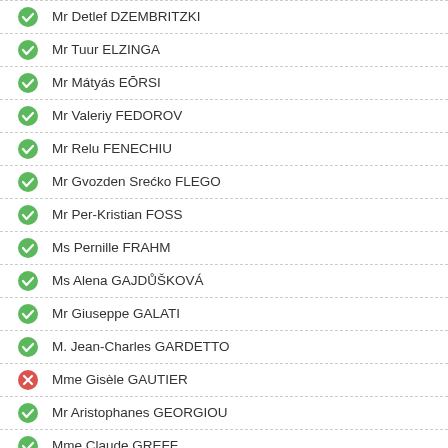Mr Detlef DZEMBRITZKI
Mr Tuur ELZINGA
Mr Mátyás EŌRSI
Mr Valeriy FEDOROV
Mr Relu FENECHIU
Mr Gvozden Srećko FLEGO
Mr Per-Kristian FOSS
Ms Pernille FRAHM
Ms Alena GAJDŮŠKOVÁ
Mr Giuseppe GALATI
M. Jean-Charles GARDETTO
Mme Gisèle GAUTIER
Mr Aristophanes GEORGIOU
Mme Claude GREFF
Mr Andreas GROSS
Ms Carina HÄGG
M. Sabir HAJIYEV